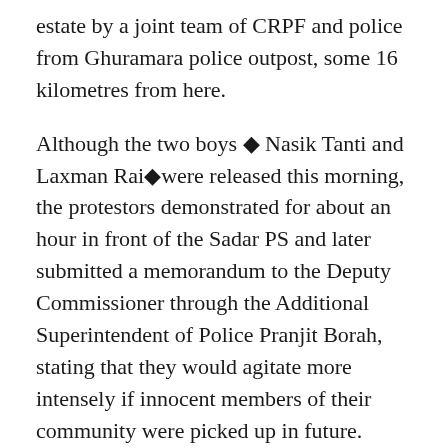estate by a joint team of CRPF and police from Ghuramara police outpost, some 16 kilometres from here.
Although the two boys ◆ Nasik Tanti and Laxman Rai◆were released this morning, the protestors demonstrated for about an hour in front of the Sadar PS and later submitted a memorandum to the Deputy Commissioner through the Additional Superintendent of Police Pranjit Borah, stating that they would agitate more intensely if innocent members of their community were picked up in future.
Police had picked the youths relying on some inputs, which turned out to be false, according to Additional SP.
After dispersing, the demonstrators later gheraoed the Ghuramara police outpost and lodged a demonstration...